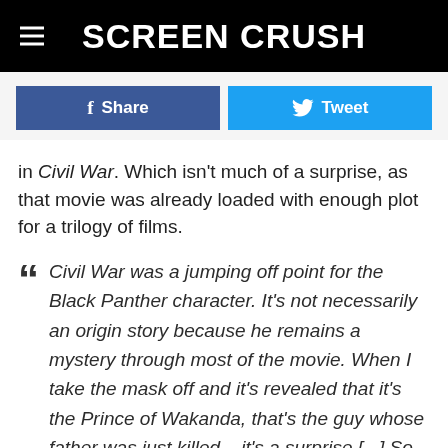SCREEN CRUSH
[Figure (other): Facebook Share button and Twitter Tweet button social sharing bar]
in Civil War. Which isn't much of a surprise, as that movie was already loaded with enough plot for a trilogy of films.
Civil War was a jumping off point for the Black Panther character. It's not necessarily an origin story because he remains a mystery through most of the movie. When I take the mask off and it's revealed that it's the Prince of Wakanda, that's the guy whose father was just killed – it's a surprise [...] So then, you're learning – as you watch the movie – what his powers are, because you're not sure. He remains a mystery through most of the movie.